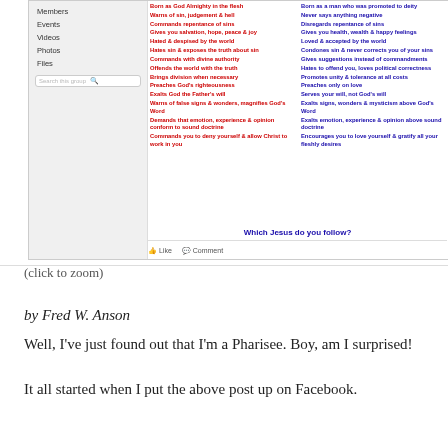[Figure (screenshot): Screenshot of a Facebook post showing a two-column comparison image titled 'Which Jesus do you follow?' with red text items in the left column and blue text items in the right column, with sidebar navigation showing Members, Events, Videos, Photos, Files, and a search box. Like and Comment buttons at bottom.]
(click to zoom)
by Fred W. Anson
Well, I've just found out that I'm a Pharisee. Boy, am I surprised!
It all started when I put the above post up on Facebook.